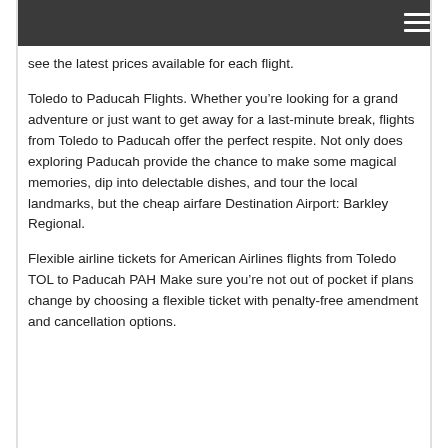see the latest prices available for each flight.
Toledo to Paducah Flights. Whether you’re looking for a grand adventure or just want to get away for a last-minute break, flights from Toledo to Paducah offer the perfect respite. Not only does exploring Paducah provide the chance to make some magical memories, dip into delectable dishes, and tour the local landmarks, but the cheap airfare Destination Airport: Barkley Regional.
Flexible airline tickets for American Airlines flights from Toledo TOL to Paducah PAH Make sure you’re not out of pocket if plans change by choosing a flexible ticket with penalty-free amendment and cancellation options.